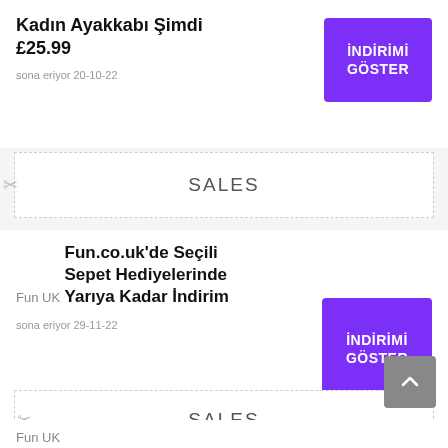Kadın Ayakkabı Şimdi £25.99
sona eriyor 20-10-22
SALES
Fun UK
Fun.co.uk'de Seçili Sepet Hediyelerinde Yarıya Kadar İndirim
sona eriyor 29-11-22
SALES
Fun UK